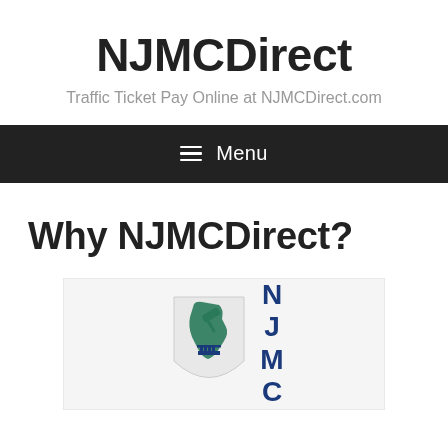NJMCDirect
Traffic Ticket Pay Online at NJMCDirect.com
≡ Menu
Why NJMCDirect?
[Figure (logo): NJMC logo showing a shield with NJ state outline and columns, with the letters N J M C in blue to the right]